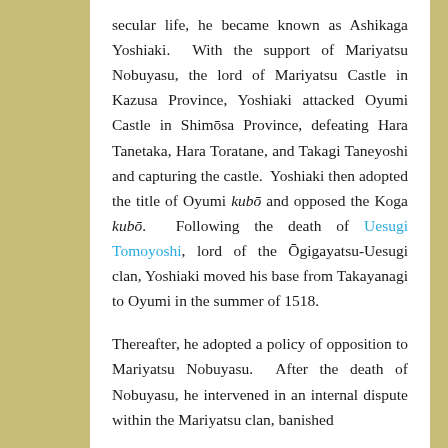secular life, he became known as Ashikaga Yoshiaki.  With the support of Mariyatsu Nobuyasu, the lord of Mariyatsu Castle in Kazusa Province, Yoshiaki attacked Oyumi Castle in Shimōsa Province, defeating Hara Tanetaka, Hara Toratane, and Takagi Taneyoshi and capturing the castle.  Yoshiaki then adopted the title of Oyumi kubō and opposed the Koga kubō.  Following the death of Uesugi Tomoyoshi, lord of the Ōgigayatsu-Uesugi clan, Yoshiaki moved his base from Takayanagi to Oyumi in the summer of 1518.
Thereafter, he adopted a policy of opposition to Mariyatsu Nobuyasu.  After the death of Nobuyasu, he intervened in an internal dispute within the Mariyatsu clan, banished